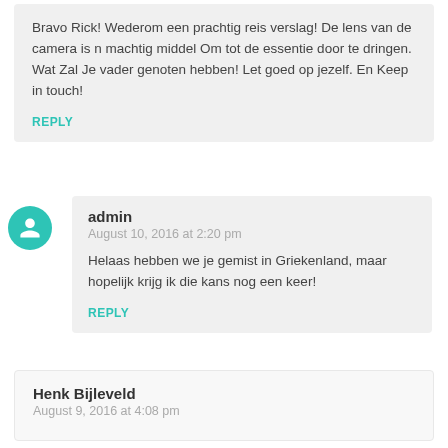Bravo Rick! Wederom een prachtig reis verslag! De lens van de camera is n machtig middel Om tot de essentie door te dringen. Wat Zal Je vader genoten hebben! Let goed op jezelf. En Keep in touch!
REPLY
admin
August 10, 2016 at 2:20 pm
Helaas hebben we je gemist in Griekenland, maar hopelijk krijg ik die kans nog een keer!
REPLY
Henk Bijleveld
August 9, 2016 at 4:08 pm